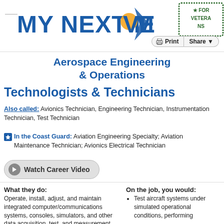MY NEXT MOVE FOR VETERANS
Aerospace Engineering & Operations Technologists & Technicians
Also called: Avionics Technician, Engineering Technician, Instrumentation Technician, Test Technician
In the Coast Guard: Aviation Engineering Specialty; Aviation Maintenance Technician; Avionics Electrical Technician
Watch Career Video
What they do:
Operate, install, adjust, and maintain integrated computer/communications systems, consoles, simulators, and other data acquisition, test, and measurement instruments and equipment, which are used to launch, track, position, and evaluate air and space vehicles. May record and interpret test data.
On the job, you would:
Test aircraft systems under simulated operational conditions, performing